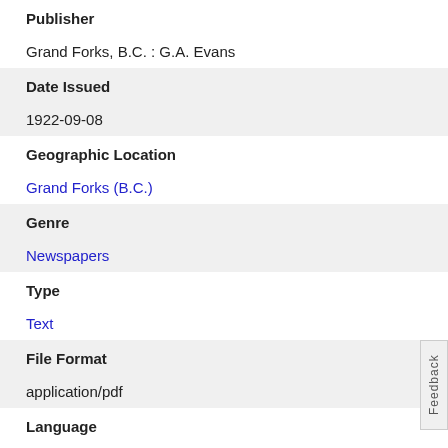Publisher
Grand Forks, B.C. : G.A. Evans
Date Issued
1922-09-08
Geographic Location
Grand Forks (B.C.)
Genre
Newspapers
Type
Text
File Format
application/pdf
Language
English